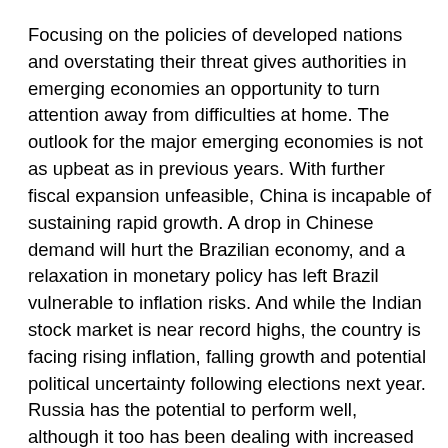Focusing on the policies of developed nations and overstating their threat gives authorities in emerging economies an opportunity to turn attention away from difficulties at home. The outlook for the major emerging economies is not as upbeat as in previous years. With further fiscal expansion unfeasible, China is incapable of sustaining rapid growth. A drop in Chinese demand will hurt the Brazilian economy, and a relaxation in monetary policy has left Brazil vulnerable to inflation risks. And while the Indian stock market is near record highs, the country is facing rising inflation, falling growth and potential political uncertainty following elections next year. Russia has the potential to perform well, although it too has been dealing with increased inflation and a stubbornly high dependency on oil prices leaves it with a precarious economic outlook.
Looking past the alarming rhetoric, emerging economies actually have much to gain from stronger currencies. In the longer-term, buoyant major economies result in increased demand for their trading partners' output. Stronger emerging market currencies will give the developing economies an